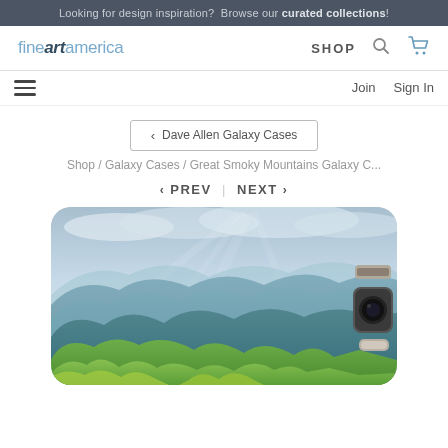Looking for design inspiration? Browse our curated collections!
[Figure (logo): Fine Art America logo with SHOP, search and cart icons]
[Figure (infographic): Hamburger menu icon on left, Join and Sign In links on right]
< Dave Allen Galaxy Cases
Shop / Galaxy Cases / Great Smoky Mountains Galaxy C...
< PREV | NEXT >
[Figure (photo): Phone case showing Great Smoky Mountains landscape with green rolling hills in foreground and blue hazy mountain ridges fading into a cloudy sky. A Samsung Galaxy phone is visible with camera hardware on the right side of the case.]